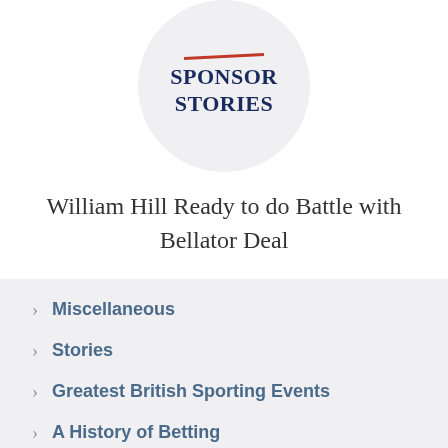[Figure (logo): Circular logo with text SPONSOR STORIES and a red underline, on a light gray circular background]
William Hill Ready to do Battle with Bellator Deal
Miscellaneous
Stories
Greatest British Sporting Events
A History of Betting
Horse Racing History